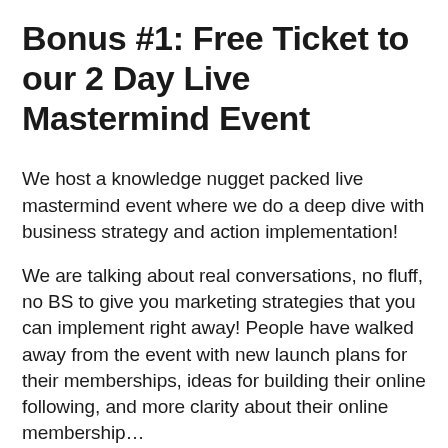Bonus #1: Free Ticket to our 2 Day Live Mastermind Event
We host a knowledge nugget packed live mastermind event where we do a deep dive with business strategy and action implementation!
We are talking about real conversations, no fluff, no BS to give you marketing strategies that you can implement right away! People have walked away from the event with new launch plans for their memberships, ideas for building their online following, and more clarity about their online membership…